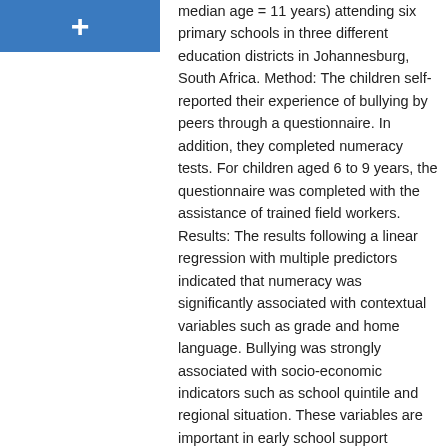[Figure (other): Blue rectangle with a white plus (+) sign, used as a decorative or section marker icon]
median age = 11 years) attending six primary schools in three different education districts in Johannesburg, South Africa. Method: The children self-reported their experience of bullying by peers through a questionnaire. In addition, they completed numeracy tests. For children aged 6 to 9 years, the questionnaire was completed with the assistance of trained field workers. Results: The results following a linear regression with multiple predictors indicated that numeracy was significantly associated with contextual variables such as grade and home language. Bullying was strongly associated with socio-economic indicators such as school quintile and regional situation. These variables are important in early school support interventions directed at improving learner numeracy performance in the primary school. Conclusion: The results show a relatively high percentage of bullying in primary schools in the Johannesburg region. The performance in numeracy was significantly associated with the grade and home language of the learners. Contextual variables